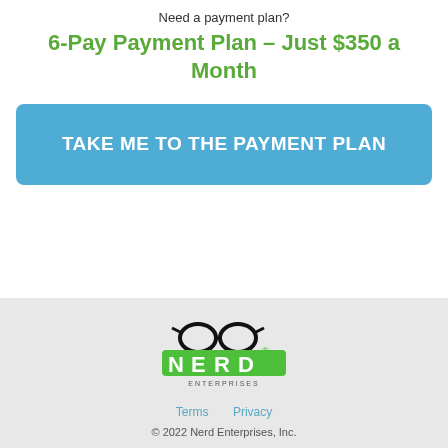Need a payment plan?
6-Pay Payment Plan – Just $350 a Month
[Figure (other): Blue call-to-action button with text TAKE ME TO THE PAYMENT PLAN]
[Figure (logo): Nerd Enterprises logo with glasses icon and green text]
Terms    Privacy
© 2022 Nerd Enterprises, Inc.